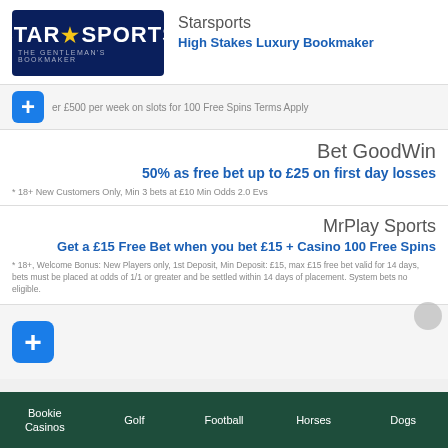[Figure (logo): Star Sports - The Gentleman's Bookmaker logo on dark navy background]
Starsports
High Stakes Luxury Bookmaker
er £500 per week on slots for 100 Free Spins Terms Apply
Bet GoodWin
50% as free bet up to £25 on first day losses
* 18+ New Customers Only, Min 3 bets at £10 Min Odds 2.0 Evs
MrPlay Sports
Get a £15 Free Bet when you bet £15 + Casino 100 Free Spins
* 18+, Welcome Bonus: New Players only, 1st Deposit, Min Deposit: £15, max £15 free bet valid for 14 days, bets must be placed at odds of 1/1 or greater and be settled within 14 days of placement. System bets no eligible.
Bookie Casinos | Golf | Football | Horses | Dogs